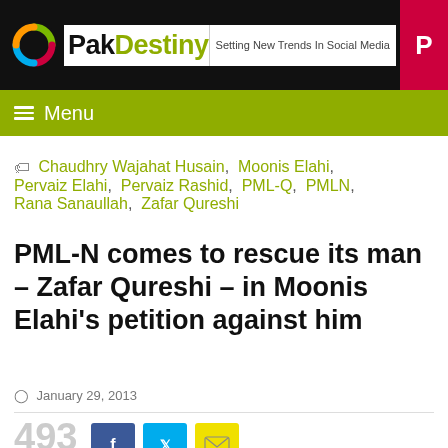PakDestiny — Setting New Trends In Social Media
Menu
Chaudhry Wajahat Husain, Moonis Elahi, Pervaiz Elahi, Pervaiz Rashid, PML-Q, PMLN, Rana Sanaullah, Zafar Qureshi
PML-N comes to rescue its man – Zafar Qureshi – in Moonis Elahi's petition against him
January 29, 2013
493 SHARES